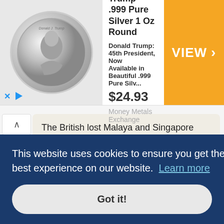[Figure (screenshot): Advertisement banner for President Trump .999 Pure Silver 1 Oz Round coin, priced at $24.93, from Money Metals Exchange, with an orange VIEW > call-to-action button]
The British lost Malaya and Singapore with four infantry divisions in the country; they still would have lost it with only two infantry divisions there, and saved the two extra infantry divisions. Seems like a positive...
The larger flaw in all of your replies, is that the Japanese victory was not pre-determined.
Despite the consistently poor management of resources by the British ... brink of ... s way ... ainly ... knew ... of
Winston Churchill could not have predicted this chain of events. He was not supposed to micromanage all decisions made by the armed
This website uses cookies to ensure you get the best experience on our website. Learn more
Got it!